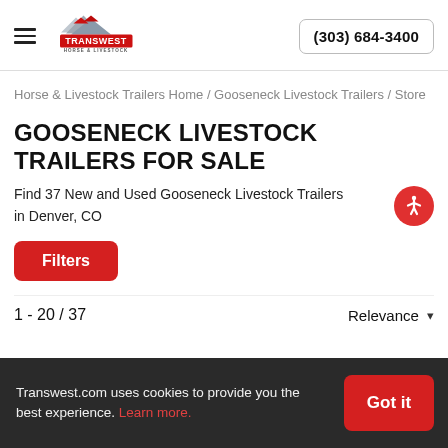TRANSWEST HORSE & LIVESTOCK | (303) 684-3400
Horse & Livestock Trailers Home / Gooseneck Livestock Trailers / Store
GOOSENECK LIVESTOCK TRAILERS FOR SALE
Find 37 New and Used Gooseneck Livestock Trailers in Denver, CO
Filters
1 - 20 / 37
Relevance
Transwest.com uses cookies to provide you the best experience. Learn more.